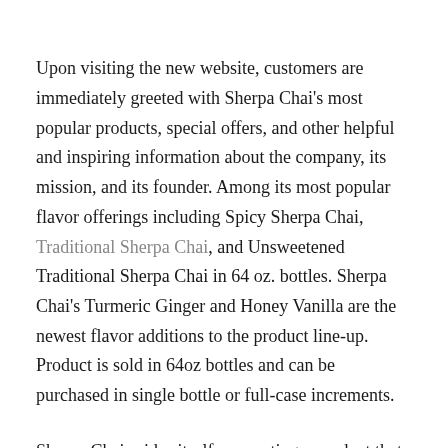Upon visiting the new website, customers are immediately greeted with Sherpa Chai's most popular products, special offers, and other helpful and inspiring information about the company, its mission, and its founder. Among its most popular flavor offerings including Spicy Sherpa Chai, Traditional Sherpa Chai, and Unsweetened Traditional Sherpa Chai in 64 oz. bottles. Sherpa Chai's Turmeric Ginger and Honey Vanilla are the newest flavor additions to the product line-up. Product is sold in 64oz bottles and can be purchased in single bottle or full-case increments.
Sherpa Chai prides itself on creating a product that is grown responsibly, sustainably, and organically. Chai beverages are widely recognized for reducing inflammation, improving